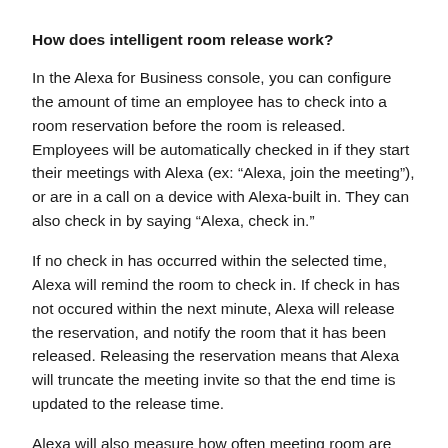How does intelligent room release work?
In the Alexa for Business console, you can configure the amount of time an employee has to check into a room reservation before the room is released. Employees will be automatically checked in if they start their meetings with Alexa (ex: “Alexa, join the meeting”), or are in a call on a device with Alexa-built in. They can also check in by saying “Alexa, check in.”
If no check in has occurred within the selected time, Alexa will remind the room to check in. If check in has not occured within the next minute, Alexa will release the reservation, and notify the room that it has been released. Releasing the reservation means that Alexa will truncate the meeting invite so that the end time is updated to the release time.
Alexa will also measure how often meeting room are released - surfacing important metrics to you like attendance rate, released minutes, and recovered meetings.